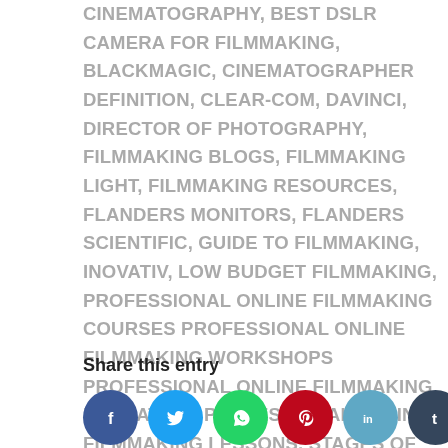CINEMATOGRAPHY, BEST DSLR CAMERA FOR FILMMAKING, BLACKMAGIC, CINEMATOGRAPHER DEFINITION, CLEAR-COM, DAVINCI, DIRECTOR OF PHOTOGRAPHY, FILMMAKING BLOGS, FILMMAKING LIGHT, FILMMAKING RESOURCES, FLANDERS MONITORS, FLANDERS SCIENTIFIC, GUIDE TO FILMMAKING, INOVATIV, LOW BUDGET FILMMAKING, PROFESSIONAL ONLINE FILMMAKING COURSES PROFESSIONAL ONLINE FILMMAKING WORKSHOPS PROFESSIONAL ONLINE FILMMAKING EDUCATION, PROFESSIONAL ONLINE FILMMAKING LESSONS, STAGES OF FILMMAKING
Share this entry
[Figure (infographic): Row of social media share buttons as colored circles: Facebook (dark blue, f), Twitter (light blue, bird), WhatsApp (green, phone), Pinterest (red, P), LinkedIn (steel blue, in), Tumblr (dark blue-grey, t), VKontakte (slate blue, VK) — partially cut off at right edge]